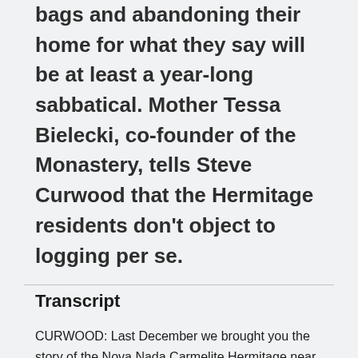bags and abandoning their home for what they say will be at least a year-long sabbatical. Mother Tessa Bielecki, co-founder of the Monastery, tells Steve Curwood that the Hermitage residents don't object to logging per se.
Transcript
CURWOOD: Last December we brought you the story of the Nova Nada Carmelite Hermitage near Yarmouth, Nova Scotia. The hermitage is cloistered in a forest near the lands of the giant timber holdings of the J.D. Irving Company, and the chainsaws disrupt the silence that is